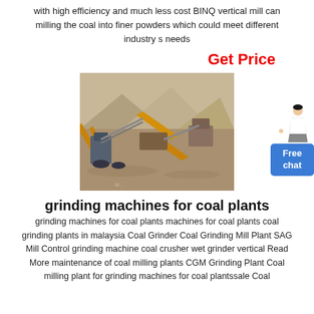with high efficiency and much less cost BINQ vertical mill can milling the coal into finer powders which could meet different industry s needs
Get Price
[Figure (photo): Aerial view of a mining/crushing plant with yellow machinery and conveyors, gravel piles in an open area]
[Figure (illustration): Female customer service representative figure pointing, with Free chat button]
grinding machines for coal plants
grinding machines for coal plants machines for coal plants coal grinding plants in malaysia Coal Grinder Coal Grinding Mill Plant SAG Mill Control grinding machine coal crusher wet grinder vertical Read More maintenance of coal milling plants CGM Grinding Plant Coal milling plant for grinding machines for coal plantssale Coal